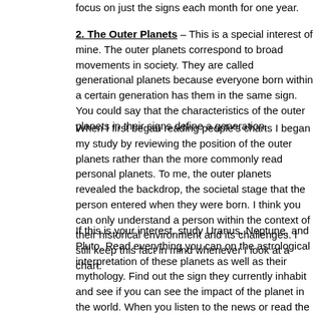focus on just the signs each month for one year.
2. The Outer Planets – This is a special interest of mine. The outer planets correspond to broad movements in society. They are called generational planets because everyone born within a certain generation has them in the same sign. You could say that the characteristics of the outer planets in their signs define a generation.
When I first began reading people's charts I began my study by reviewing the position of the outer planets rather than the more commonly read personal planets. To me, the outer planets revealed the backdrop, the societal stage that the person entered when they were born. I think you can only understand a person within the context of their historical environment and its challenges. I still keep this fact in mind whenever I look at a chart.
If this is your interest, study Uranus, Neptune, and Pluto. Read everything you can on the astrological interpretation of these planets as well as their mythology. Find out the sign they currently inhabit and see if you can see the impact of the planet in the world. When you listen to the news or read the paper or watch television or movies, look for the activity of the planet in trends and headlines.
Uranus enters Aries this week, so it's a great time to begin this kind of study. Focus only on the outer planets to get a broad understanding of astrology and society.
3. Sun, Moon, and Ascendant – For a more personal immersion in Astrology, focus on the Sun, Moon, and Ascendant. And since the person we know best is ourselves, focus only on your own chart. Get to know the sign and house of your Sun and Moon. Read about your Ascendant and the planet that rules your Ascendant.